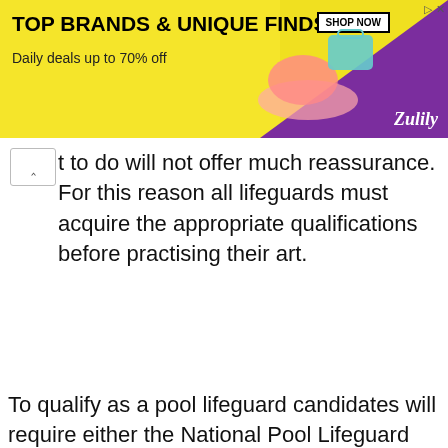[Figure (screenshot): Advertisement banner for Zulily: 'TOP BRANDS & UNIQUE FINDS, Daily deals up to 70% off' with SHOP NOW button, shoes and handbag imagery, yellow and purple branding]
t to do will not offer much reassurance. For this reason all lifeguards must acquire the appropriate qualifications before practising their art.
To qualify as a pool lifeguard candidates will require either the National Pool Lifeguard
ic
two
This website uses cookies to ensure you get the best experience on our website.
Cookie Policy
Got it!
s
ce of
lifesaving before taking the NPLQ qualification.